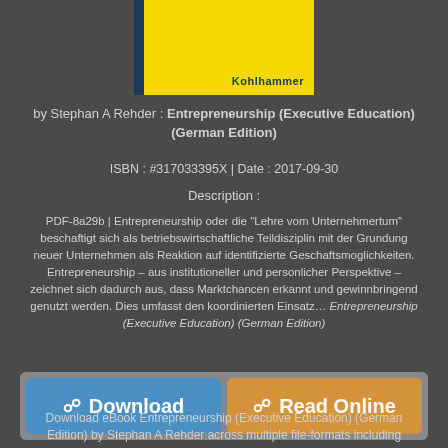[Figure (illustration): Book cover with yellow background, dark blue left spine, and 'Kohlhammer' text at bottom right]
by Stephan A Rehder : Entrepreneurship (Executive Education) (German Edition)
ISBN : #317033395X | Date : 2017-09-30
Description :
PDF-8a29b | Entrepreneurship oder die "Lehre vom Unternehmertum" beschaftigt sich als betriebswirtschaftliche Teildisziplin mit der Grundung neuer Unternehmen als Reaktion auf identifizierte Geschaftsmoglichkeiten. Entrepreneurship – aus institutioneller und personlicher Perspektive – zeichnet sich dadurch aus, dass Marktchancen erkannt und gewinnbringend genutzt werden. Dies umfasst den koordinierten Einsatz… Entrepreneurship (Executive Education) (German Edition)
[Figure (infographic): Two buttons: blue Download button and orange Read Online button]
Download eBook Entrepreneurship (Executive Education) (German Edition) by Stephan A Rehder across multiple file-formats including